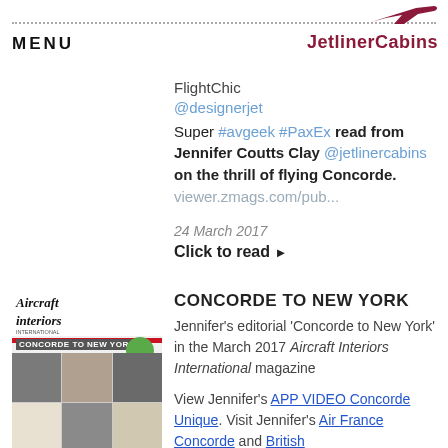MENU  JetlinerCabins
FlightChic
@designerjet
Super #avgeek #PaxEx read from Jennifer Coutts Clay @jetlinercabins on the thrill of flying Concorde. viewer.zmags.com/pub...
24 March 2017
Click to read ▶
[Figure (photo): Aircraft Interiors International magazine cover showing Concorde to New York editorial with grid of images]
CONCORDE TO NEW YORK
Jennifer's editorial 'Concorde to New York' in the March 2017 Aircraft Interiors International magazine

View Jennifer's APP VIDEO Concorde Unique. Visit Jennifer's Air France Concorde and British